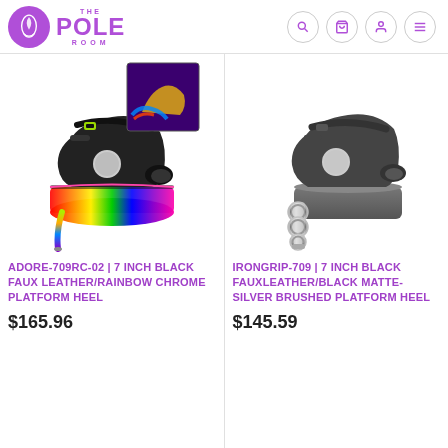THE POLE ROOM
[Figure (photo): Rainbow chrome platform heel shoe with black faux leather upper, ADORE-709RC-02, with inset UV/blacklight photo]
ADORE-709RC-02 | 7 INCH BLACK FAUX LEATHER/RAINBOW CHROME PLATFORM HEEL
$165.96
[Figure (photo): Black faux leather platform heel with silver brushed knuckle-style heel, IRONGRIP-709]
IRONGRIP-709 | 7 INCH BLACK FAUXLEATHER/BLACK MATTE-SILVER BRUSHED PLATFORM HEEL
$145.59